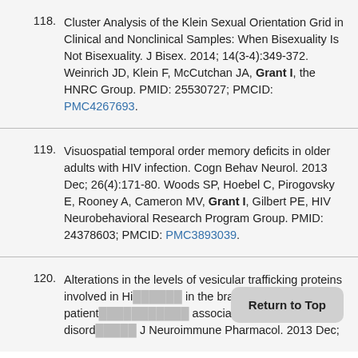118. Cluster Analysis of the Klein Sexual Orientation Grid in Clinical and Nonclinical Samples: When Bisexuality Is Not Bisexuality. J Bisex. 2014; 14(3-4):349-372. Weinrich JD, Klein F, McCutchan JA, Grant I, the HNRC Group. PMID: 25530727; PMCID: PMC4267693.
119. Visuospatial temporal order memory deficits in older adults with HIV infection. Cogn Behav Neurol. 2013 Dec; 26(4):171-80. Woods SP, Hoebel C, Pirogovsky E, Rooney A, Cameron MV, Grant I, Gilbert PE, HIV Neurobehavioral Research Program Group. PMID: 24378603; PMCID: PMC3893039.
120. Alterations in the levels of vesicular trafficking proteins involved in HIV replication in the brains and CSF of patients with HIV-associated neurocognitive disorders. J Neuroimmune Pharmacol. 2013 Dec;